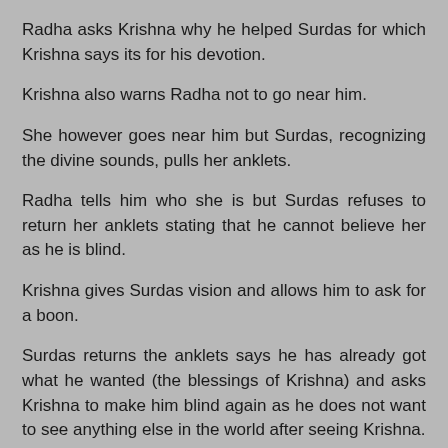Radha asks Krishna why he helped Surdas for which Krishna says its for his devotion.
Krishna also warns Radha not to go near him.
She however goes near him but Surdas, recognizing the divine sounds, pulls her anklets.
Radha tells him who she is but Surdas refuses to return her anklets stating that he cannot believe her as he is blind.
Krishna gives Surdas vision and allows him to ask for a boon.
Surdas returns the anklets says he has already got what he wanted (the blessings of Krishna) and asks Krishna to make him blind again as he does not want to see anything else in the world after seeing Krishna.
Radha is moved by his devotion and Krishna grants his wish by making him blind again thus giving him everlasting fame.